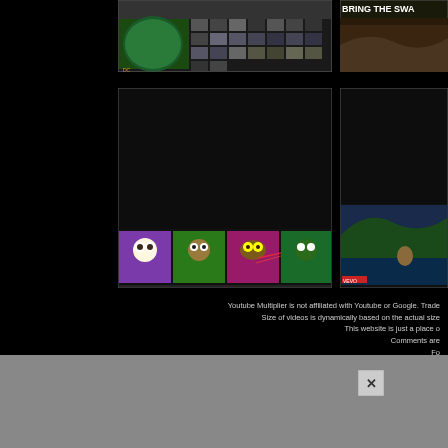[Figure (screenshot): Top video thumbnail with colorful collage of DC/animated content]
[Figure (screenshot): Right top thumbnail with text BRING THE SWA and dark background image]
[Figure (screenshot): Lower left video thumbnail showing four colorful animated face/character panels in purple, green, pink, and dark green]
[Figure (screenshot): Right bottom thumbnail showing nature scene with person near water]
Youtube Multiplier is not affiliated with Youtube or Google. Trade
Size of videos is dynamically based on the actual size
This website is just a place o
Comments are
Fo
Con